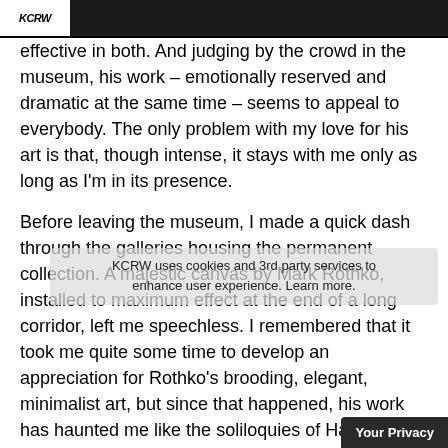KCRW
effective in both. And judging by the crowd in the museum, his work – emotionally reserved and dramatic at the same time – seems to appeal to everybody. The only problem with my love for his art is that, though intense, it stays with me only as long as I'm in its presence.
Before leaving the museum, I made a quick dash through the galleries housing the permanent collection. A majestic canvas by Mark Rothko, installed to maximum effect at the end of a long corridor, left me speechless. I remembered that it took me quite some time to develop an appreciation for Rothko's brooding, elegant, minimalist art, but since that happened, his work has haunted me like the soliloquies of Hamlet. Without doubt, Gerhard Richter deserves the fame and fortune his art has brought him. But looking at his seductively elusive art
KCRW uses cookies and 3rd party services to enhance user experience. Learn more.
Your Privacy